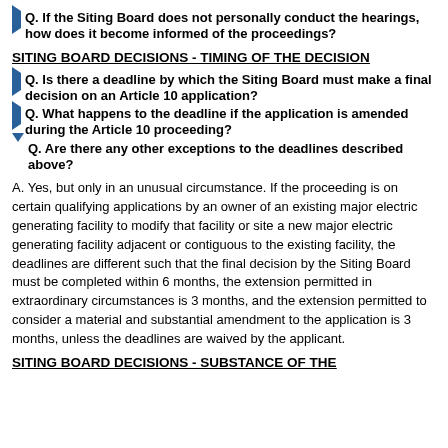Q. If the Siting Board does not personally conduct the hearings, how does it become informed of the proceedings?
SITING BOARD DECISIONS - TIMING OF THE DECISION
Q. Is there a deadline by which the Siting Board must make a final decision on an Article 10 application?
Q. What happens to the deadline if the application is amended during the Article 10 proceeding?
Q. Are there any other exceptions to the deadlines described above?
A. Yes, but only in an unusual circumstance. If the proceeding is on certain qualifying applications by an owner of an existing major electric generating facility to modify that facility or site a new major electric generating facility adjacent or contiguous to the existing facility, the deadlines are different such that the final decision by the Siting Board must be completed within 6 months, the extension permitted in extraordinary circumstances is 3 months, and the extension permitted to consider a material and substantial amendment to the application is 3 months, unless the deadlines are waived by the applicant.
SITING BOARD DECISIONS - SUBSTANCE OF THE